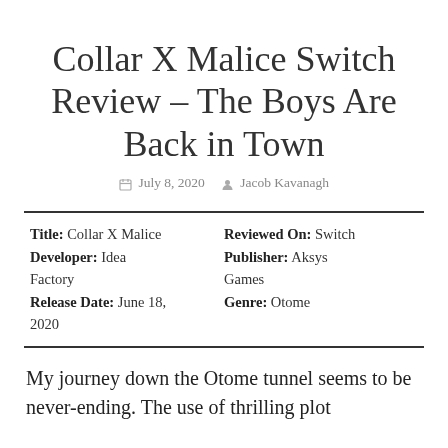Collar X Malice Switch Review – The Boys Are Back in Town
July 8, 2020   Jacob Kavanagh
| Title: Collar X Malice | Reviewed On: Switch |
| Developer: Idea Factory | Publisher: Aksys Games |
| Release Date: June 18, 2020 | Genre: Otome |
My journey down the Otome tunnel seems to be never-ending. The use of thrilling plot